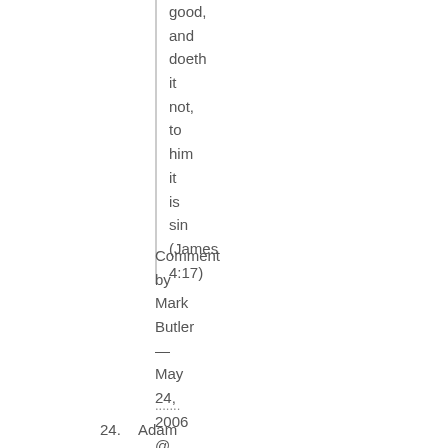good, and doeth it not, to him it is sin (James 4:17)
Comment by Mark Butler — May 24, 2006 @ 9:31 am
.......
24. Adam and